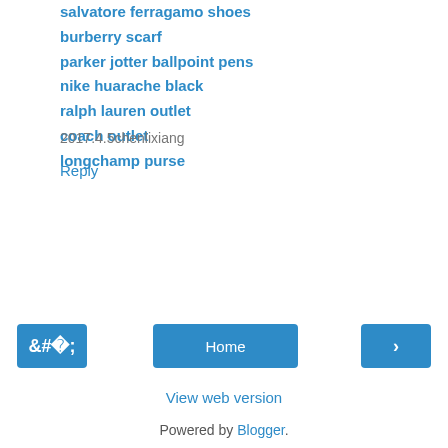salvatore ferragamo shoes
burberry scarf
parker jotter ballpoint pens
nike huarache black
ralph lauren outlet
coach outlet
longchamp purse
2017.4.5chenlixiang
Reply
Home | View web version | Powered by Blogger.